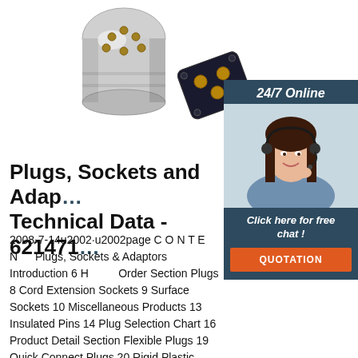[Figure (photo): Metal electrical plugs and socket connectors - a cylindrical pin plug and a flat socket adapter with brass contacts]
[Figure (infographic): 24/7 Online chat sidebar with a customer service representative wearing a headset, a 'Click here for free chat!' message, and an orange QUOTATION button]
Plugs, Sockets and Adaptors Technical Data - 6214717
2008-7-14u2002·u2002page C O N T E N T S Plugs, Sockets & Adaptors Introduction 6 How to Order Section Plugs 8 Cord Extension Sockets 9 Surface Sockets 10 Miscellaneous Products 13 Insulated Pins 14 Plug Selection Chart 16 Product Detail Section Flexible Plugs 19 Quick Connect Plugs 20 Rigid Plastic Plugs & Appliance Plugs 21 Clock Point Plugs & Side Entry Plugs 22